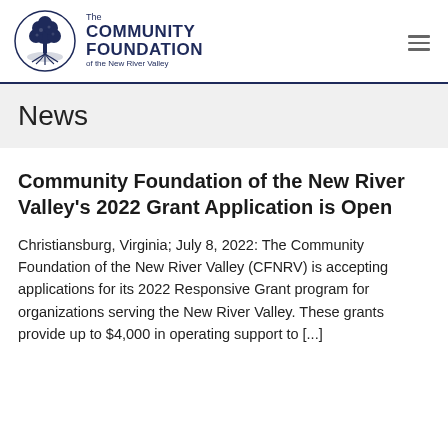[Figure (logo): The Community Foundation of the New River Valley logo — circular emblem with a tree and roots above water, dark navy blue, with text to the right reading 'The COMMUNITY FOUNDATION of the New River Valley']
News
Community Foundation of the New River Valley's 2022 Grant Application is Open
Christiansburg, Virginia; July 8, 2022: The Community Foundation of the New River Valley (CFNRV) is accepting applications for its 2022 Responsive Grant program for organizations serving the New River Valley. These grants provide up to $4,000 in operating support to [...]